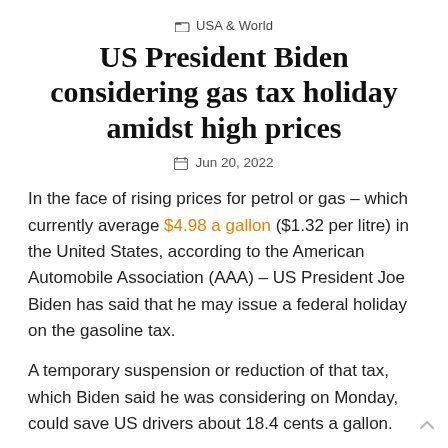USA & World
US President Biden considering gas tax holiday amidst high prices
Jun 20, 2022
In the face of rising prices for petrol or gas – which currently average $4.98 a gallon ($1.32 per litre) in the United States, according to the American Automobile Association (AAA) – US President Joe Biden has said that he may issue a federal holiday on the gasoline tax.
A temporary suspension or reduction of that tax, which Biden said he was considering on Monday, could save US drivers about 18.4 cents a gallon.